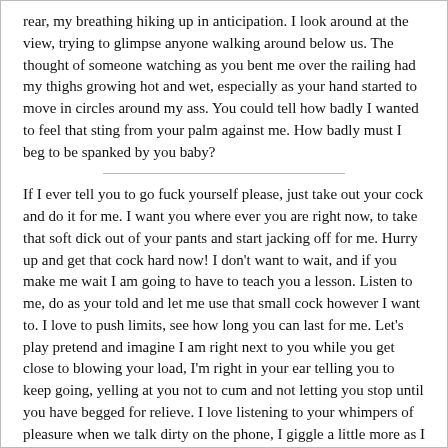rear, my breathing hiking up in anticipation. I look around at the view, trying to glimpse anyone walking around below us. The thought of someone watching as you bent me over the railing had my thighs growing hot and wet, especially as your hand started to move in circles around my ass. You could tell how badly I wanted to feel that sting from your palm against me. How badly must I beg to be spanked by you baby?
If I ever tell you to go fuck yourself please, just take out your cock and do it for me. I want you where ever you are right now, to take that soft dick out of your pants and start jacking off for me. Hurry up and get that cock hard now! I don't want to wait, and if you make me wait I am going to have to teach you a lesson. Listen to me, do as your told and let me use that small cock however I want to. I love to push limits, see how long you can last for me. Let's play pretend and imagine I am right next to you while you get close to blowing your load, I'm right in your ear telling you to keep going, yelling at you not to cum and not letting you stop until you have begged for relieve. I love listening to your whimpers of pleasure when we talk dirty on the phone, I giggle a little more as I order you to start beating your little cock for me again. I can't wait to find out how long you can handle your edging.